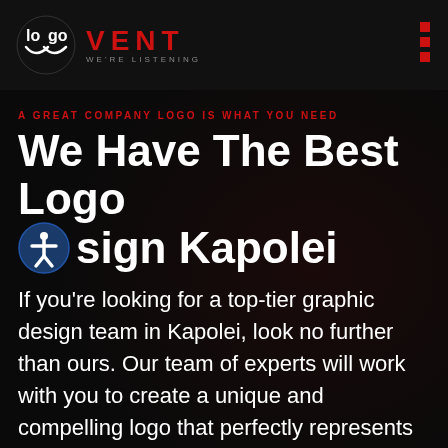[Figure (logo): Vent logo with circular icon showing 'lo' and 'go' text, brand name VENT in red with tagline WE'RE LISTENING]
A GREAT COMPANY LOGO IS WHAT YOU NEED
We Have The Best Logo Design Kapolei
If you're looking for a top-tier graphic design team in Kapolei, look no further than ours. Our team of experts will work with you to create a unique and compelling logo that perfectly represents your brand. We have years of experience in creating successful logos, and we're confident that we can do the